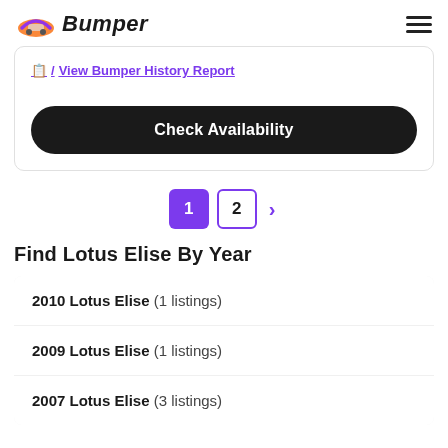Bumper
View Bumper History Report
Check Availability
1 2 >
Find Lotus Elise By Year
2010 Lotus Elise  (1 listings)
2009 Lotus Elise  (1 listings)
2007 Lotus Elise  (3 listings)